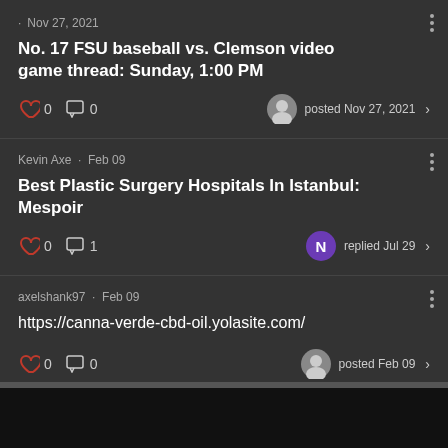· Nov 27, 2021
No. 17 FSU baseball vs. Clemson video game thread: Sunday, 1:00 PM
0  0  posted Nov 27, 2021 >
Kevin Axe · Feb 09
Best Plastic Surgery Hospitals In Istanbul: Mespoir
0  1  replied Jul 29 >
axelshank97 · Feb 09
https://canna-verde-cbd-oil.yolasite.com/
0  0  posted Feb 09 >